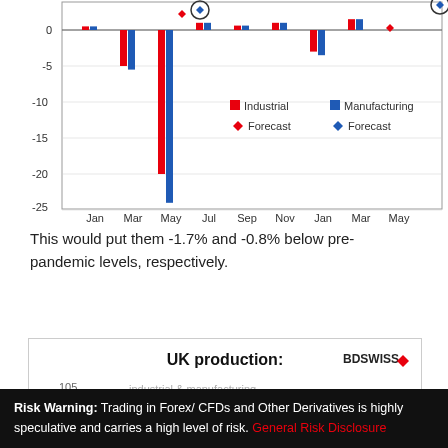[Figure (grouped-bar-chart): ]
This would put them -1.7% and -0.8% below pre-pandemic levels, respectively.
[Figure (other): UK production chart header showing 'UK production:' title with BDSwiss logo and partial chart visible at bottom]
Risk Warning: Trading in Forex/ CFDs and Other Derivatives is highly speculative and carries a high level of risk. General Risk Disclosure